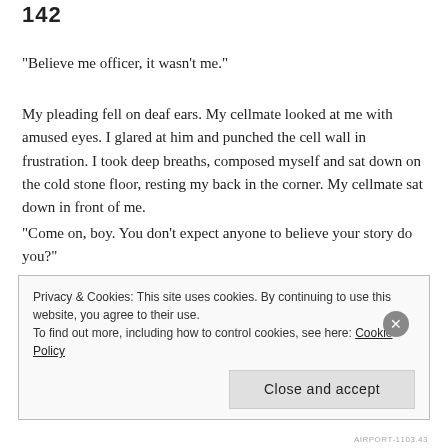142
“Believe me officer, it wasn’t me.”
My pleading fell on deaf ears. My cellmate looked at me with amused eyes. I glared at him and punched the cell wall in frustration. I took deep breaths, composed myself and sat down on the cold stone floor, resting my back in the corner. My cellmate sat down in front of me.
“Come on, boy. You don’t expect anyone to believe your story do you?”
I offered him no reply.
Privacy & Cookies: This site uses cookies. By continuing to use this website, you agree to their use.
To find out more, including how to control cookies, see here: Cookie Policy
AIRPORT-1103.43